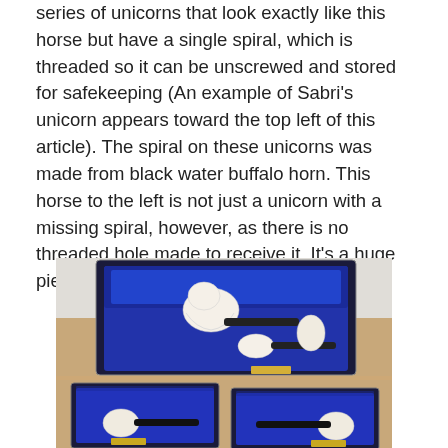series of unicorns that look exactly like this horse but have a single spiral, which is threaded so it can be unscrewed and stored for safekeeping (An example of Sabri's unicorn appears toward the top left of this article). The spiral on these unicorns was made from black water buffalo horn. This horse to the left is not just a unicorn with a missing spiral, however, as there is no threaded hole made to receive it. It's a huge piece, weighing in at a hefty 148 grams.
[Figure (photo): Multiple meerschaum pipes displayed in open blue velvet-lined cases on a wooden surface. The top case contains ornate figural pipes including what appears to be a unicorn/horse figure. The lower two cases each contain a pipe with a black stem.]